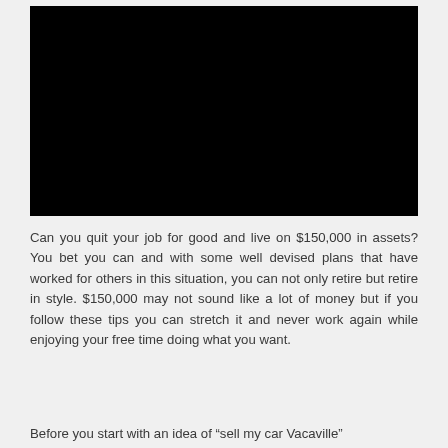[Figure (photo): Black rectangular image placeholder at the top of the page]
Can you quit your job for good and live on $150,000 in assets? You bet you can and with some well devised plans that have worked for others in this situation, you can not only retire but retire in style. $150,000 may not sound like a lot of money but if you follow these tips you can stretch it and never work again while enjoying your free time doing what you want.
Before you start with an idea of “sell my car Vacaville”